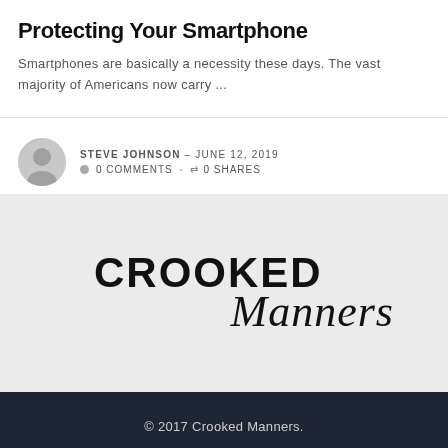Protecting Your Smartphone
Smartphones are basically a necessity these days. The vast majority of Americans now carry ...
STEVE JOHNSON – JUNE 12, 2019
0 COMMENTS · 0 SHARES
[Figure (logo): Crooked Manners logo with bold sans-serif CROOKED text and italic script Manners text on a light grey background]
© 2017 Crooked Manners.